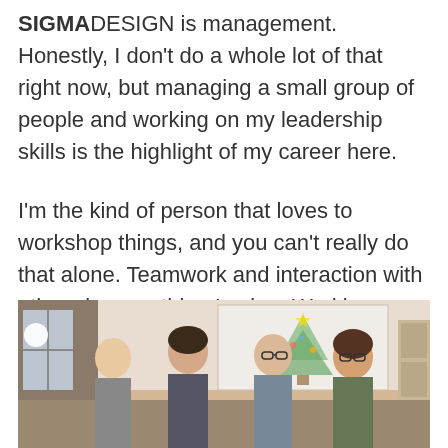SIGMADESIGN is management. Honestly, I don't do a whole lot of that right now, but managing a small group of people and working on my leadership skills is the highlight of my career here.
I'm the kind of person that loves to workshop things, and you can't really do that alone. Teamwork and interaction with others is something I value. Working as a team is the best way to find good approaches to problems, and good solutions.
[Figure (photo): Group photo of four men standing together in a room, with a whiteboard or wall behind them showing a drawing of a Christmas tree. The setting appears to be an office or workshop space.]